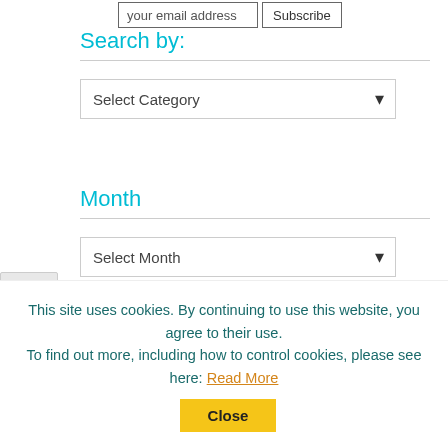[Figure (screenshot): Email subscription input field with 'your email address' placeholder text and a 'Subscribe' button]
Search by:
[Figure (screenshot): Dropdown select element labeled 'Select Category']
Month
[Figure (screenshot): Dropdown select element labeled 'Select Month']
Most Recent Blog Posts
New Releases: September 2022 (partially visible)
This site uses cookies. By continuing to use this website, you agree to their use. To find out more, including how to control cookies, please see here: Read More
[Figure (screenshot): Close button for cookie banner]